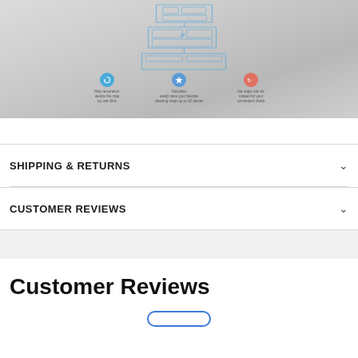[Figure (illustration): Product image showing a 3D layered floor plan schematic with three feature icons below: a blue circular arrow (Map restoration/device the map by one click), a blue star (Favorites: easily save your favorite cleaning maps up to 10 pieces), and an orange/red icon (the maps can be rotated for your convenient check). Background is a light gray room environment.]
SHIPPING & RETURNS
CUSTOMER REVIEWS
Customer Reviews